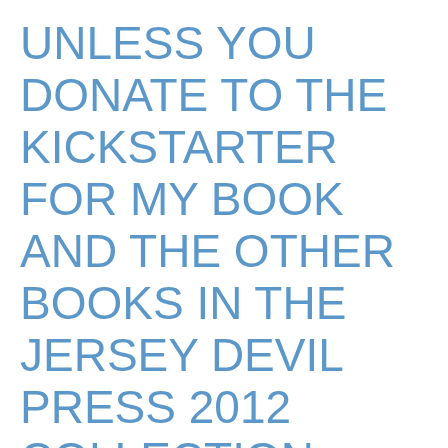UNLESS YOU DONATE TO THE KICKSTARTER FOR MY BOOK AND THE OTHER BOOKS IN THE JERSEY DEVIL PRESS 2012 COLLECTION. THEN YOU'RE COOL AS FUCK, DUDE.
Okay. Be a real person.
RW